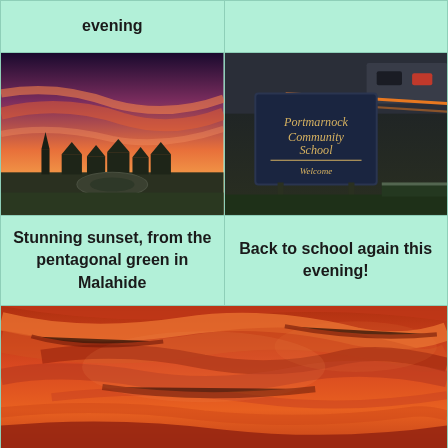evening
[Figure (photo): Sunset sky with pink and orange clouds over Malahide village with houses and church silhouette, taken from pentagonal green]
[Figure (photo): Portmarnock Community School welcome sign at night, dark blue sign with gold lettering, car park visible behind]
Stunning sunset, from the pentagonal green in Malahide
Back to school again this evening!
[Figure (photo): Close-up of dramatic orange and red sunset clouds filling the sky]